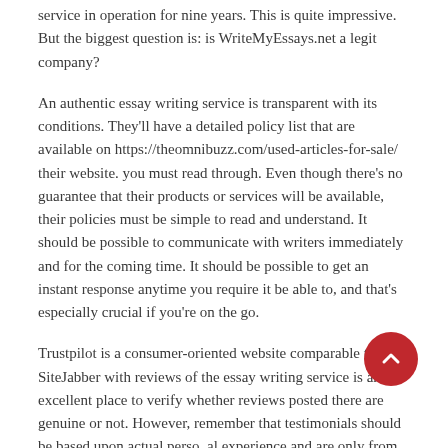service in operation for nine years. This is quite impressive. But the biggest question is: is WriteMyEssays.net a legit company?
An authentic essay writing service is transparent with its conditions. They'll have a detailed policy list that are available on https://theomnibuzz.com/used-articles-for-sale/ their website. you must read through. Even though there's no guarantee that their products or services will be available, their policies must be simple to read and understand. It should be possible to communicate with writers immediately and for the coming time. It should be possible to get an instant response anytime you require it be able to, and that's especially crucial if you're on the go.
Trustpilot is a consumer-oriented website comparable to SiteJabber with reviews of the essay writing service is an excellent place to verify whether reviews posted there are genuine or not. However, remember that testimonials should be based upon actual personal experience and are only from individuals who have utilized a specific writing service. When you are ready to purchase, make sure you